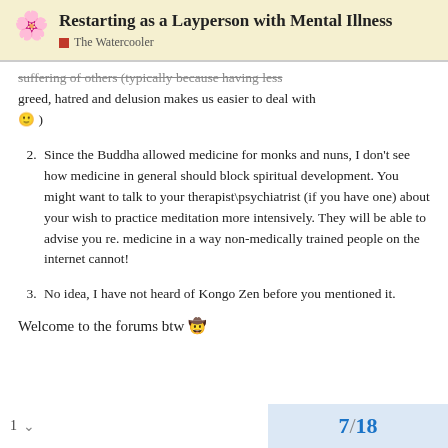Restarting as a Layperson with Mental Illness | The Watercooler
suffering of others (typically because having less greed, hatred and delusion makes us easier to deal with 🙂 )
2. Since the Buddha allowed medicine for monks and nuns, I don't see how medicine in general should block spiritual development. You might want to talk to your therapist\psychiatrist (if you have one) about your wish to practice meditation more intensively. They will be able to advise you re. medicine in a way non-medically trained people on the internet cannot!
3. No idea, I have not heard of Kongo Zen before you mentioned it.
Welcome to the forums btw 🤠
7 / 18